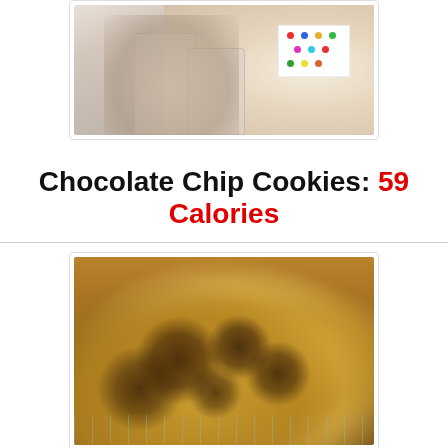[Figure (photo): Photo of food items in mason jars with whipped cream/powder toppings, alongside a colorful polka-dot patterned book/item on a white background]
Chocolate Chip Cookies: 59 Calories
[Figure (photo): Close-up photo of chocolate chip cookies on a wire cooling rack on a brown surface]